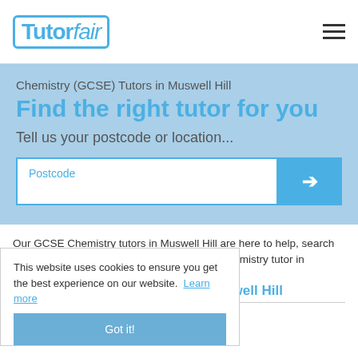TutorFair
Chemistry (GCSE) Tutors in Muswell Hill
Find the right tutor for you
Tell us your postcode or location...
Postcode
Our GCSE Chemistry tutors in Muswell Hill are here to help, search using your postcode to find the best GCSE Chemistry tutor in Muswell Hill.
This website uses cookies to ensure you get the best experience on our website. Learn more
28 GCSE Chemistry Tutors in Muswell Hill
Got it!
Juba A